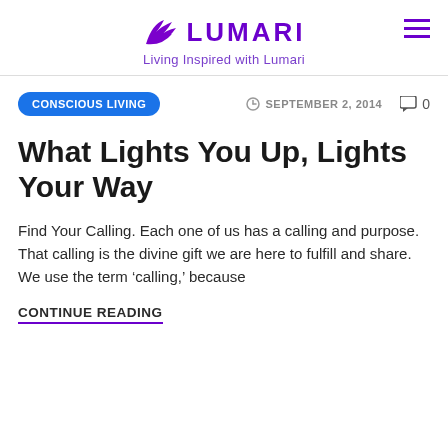Lumari — Living Inspired with Lumari
CONSCIOUS LIVING   SEPTEMBER 2, 2014   0
What Lights You Up, Lights Your Way
Find Your Calling. Each one of us has a calling and purpose. That calling is the divine gift we are here to fulfill and share. We use the term ‘calling,’ because
CONTINUE READING